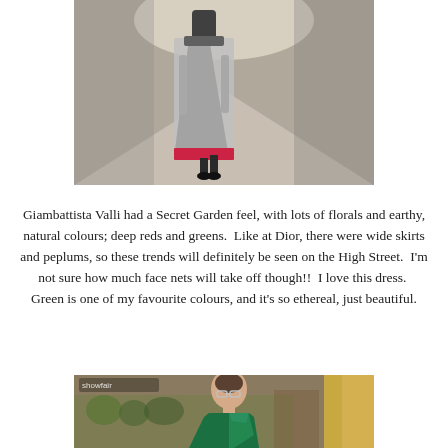[Figure (photo): Fashion runway photo showing a model from behind wearing a silver/metallic long dress with a red/pink hem, walking on a runway.]
Giambattista Valli had a Secret Garden feel, with lots of florals and earthy, natural colours; deep reds and greens.  Like at Dior, there were wide skirts and peplums, so these trends will definitely be seen on the High Street.  I'm not sure how much face nets will take off though!!  I love this dress.  Green is one of my favourite colours, and it's so ethereal, just beautiful.
[Figure (photo): Fashion runway photo showing a model wearing a one-shoulder emerald green draped gown, with audience visible in background.]